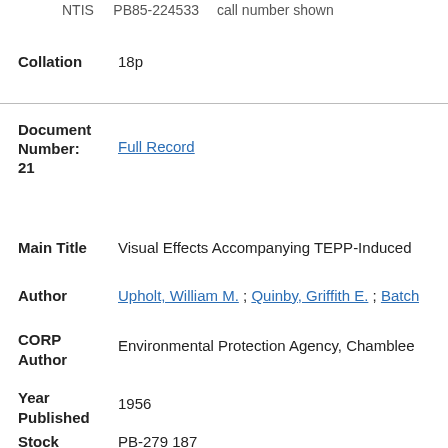NTIS   PB85-224533   call number shown
Collation   18p
Document Number: Full Record 21
Main Title   Visual Effects Accompanying TEPP-Induced
Author   Upholt, William M. ; Quinby, Griffith E. ; Batch
CORP Author   Environmental Protection Agency, Chamblee
Year Published   1956
Stock   PB-279 187